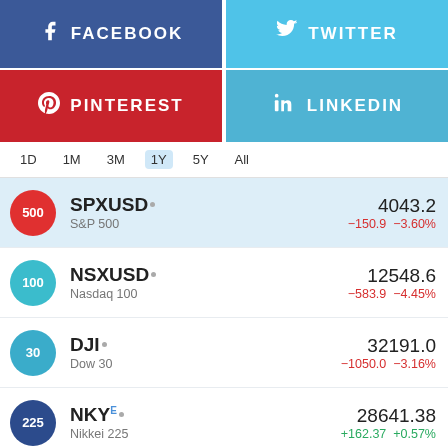[Figure (infographic): Facebook social share button (blue, f icon, FACEBOOK text)]
[Figure (infographic): Twitter social share button (light blue, bird icon, TWITTER text)]
[Figure (infographic): Pinterest social share button (red, P icon, PINTEREST text)]
[Figure (infographic): LinkedIn social share button (blue, in icon, LINKEDIN text)]
1D  1M  3M  1Y  5Y  All
| Symbol | Name | Price | Change | Change% |
| --- | --- | --- | --- | --- |
| SPXUSD | S&P 500 | 4043.2 | -150.9 | -3.60% |
| NSXUSD | Nasdaq 100 | 12548.6 | -583.9 | -4.45% |
| DJI | Dow 30 | 32191.0 | -1050.0 | -3.16% |
| NKY | Nikkei 225 | 28641.38 | +162.37 | +0.57% |
| DEU30 | DAX Index | 12971.47 | -300.49 | -2.26% |